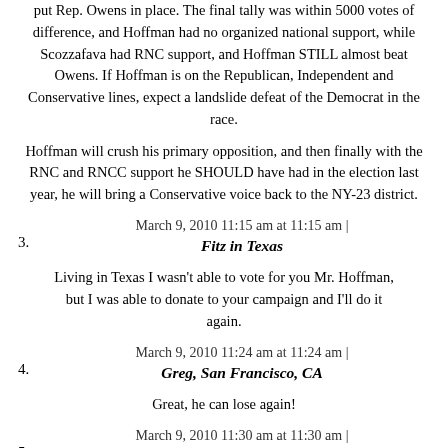put Rep. Owens in place. The final tally was within 5000 votes of difference, and Hoffman had no organized national support, while Scozzafava had RNC support, and Hoffman STILL almost beat Owens. If Hoffman is on the Republican, Independent and Conservative lines, expect a landslide defeat of the Democrat in the race.
Hoffman will crush his primary opposition, and then finally with the RNC and RNCC support he SHOULD have had in the election last year, he will bring a Conservative voice back to the NY-23 district.
March 9, 2010 11:15 am at 11:15 am |
3. Fitz in Texas
Living in Texas I wasn't able to vote for you Mr. Hoffman, but I was able to donate to your campaign and I'll do it again.
March 9, 2010 11:24 am at 11:24 am |
4. Greg, San Francisco, CA
Great, he can lose again!
March 9, 2010 11:30 am at 11:30 am |
5. Steve (the real one)